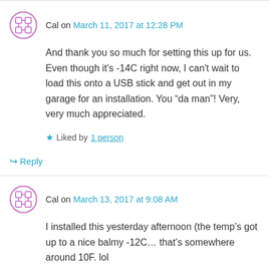Cal on March 11, 2017 at 12:28 PM
And thank you so much for setting this up for us. Even though it's -14C right now, I can't wait to load this onto a USB stick and get out in my garage for an installation. You “da man”! Very, very much appreciated.
★ Liked by 1 person
↳ Reply
Cal on March 13, 2017 at 9:08 AM
I installed this yesterday afternoon (the temp’s got up to a nice balmy -12C… that’s somewhere around 10F. lol